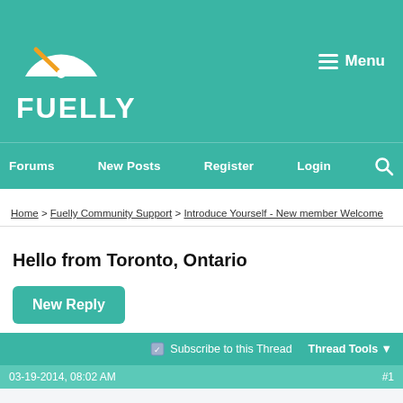[Figure (logo): Fuelly logo: white speedometer/gauge icon with orange needle on teal background, with bold white text 'FUELLY' below]
Menu
Forums   New Posts   Register   Login   🔍
Home > Fuelly Community Support > Introduce Yourself - New member Welcome
Hello from Toronto, Ontario
New Reply
Subscribe to this Thread   Thread Tools ▼
03-19-2014, 08:02 AM   #1
xiuxianxie   Join Date: Mar 2014
Posts: 1